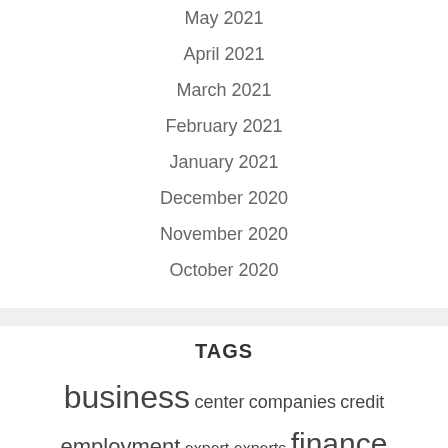May 2021
April 2021
March 2021
February 2021
January 2021
December 2020
November 2020
October 2020
TAGS
business center companies credit employment expert experts finance financial function group guide